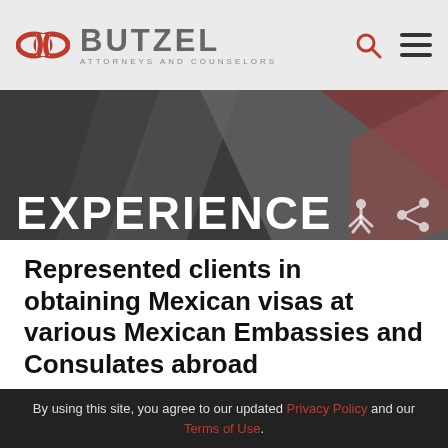[Figure (logo): Butzel Long logo with infinity chain link icon in red, and text 'BUTZEL ATTORNEYS AND COUNSELORS' in gray]
[Figure (photo): Dark gray abstract background hero banner with 'EXPERIENCE' text overlay and share/bookmark icons]
Represented clients in obtaining Mexican visas at various Mexican Embassies and Consulates abroad
By using this site, you agree to our updated Privacy Policy and our Terms of Use.